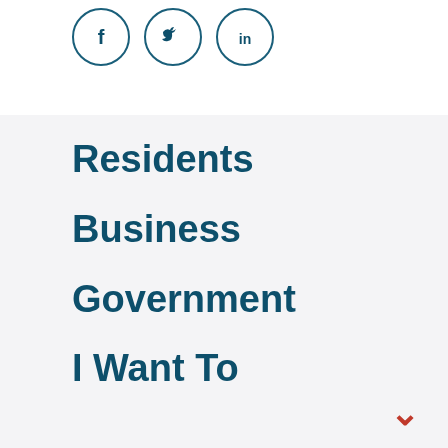[Figure (illustration): Social media icons: Facebook (f), Twitter (bird), LinkedIn (in) in circular outlines, teal colored]
Residents
Business
Government
I Want To